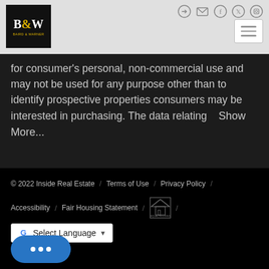B&W Baird & Warner logo with navigation icons and hamburger menu
for consumer's personal, non-commercial use and may not be used for any purpose other than to identify prospective properties consumers may be interested in purchasing. The data relating    Show More...
© 2022 Inside Real Estate / Terms of Use / Privacy Policy / Accessibility / Fair Housing Statement / [Equal Housing Logo] / Select Language ▼